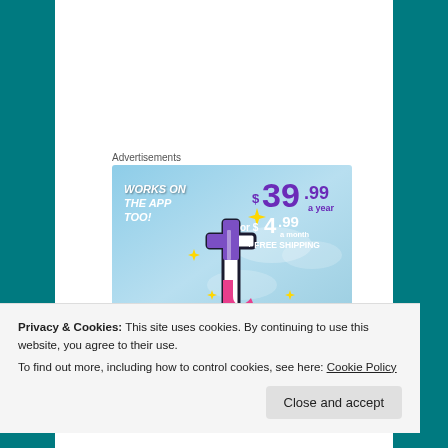Advertisements
[Figure (illustration): Tumblr advertisement banner with blue sky background. Shows 'WORKS ON THE APP TOO!' text in white italic bold on the left, a Tumblr logo 't' in pink/purple/white with sparkle stars, and pricing: $39.99 a year or $4.99 a month + FREE SHIPPING on the right in purple and white.]
Privacy & Cookies: This site uses cookies. By continuing to use this website, you agree to their use.
To find out more, including how to control cookies, see here: Cookie Policy
Close and accept